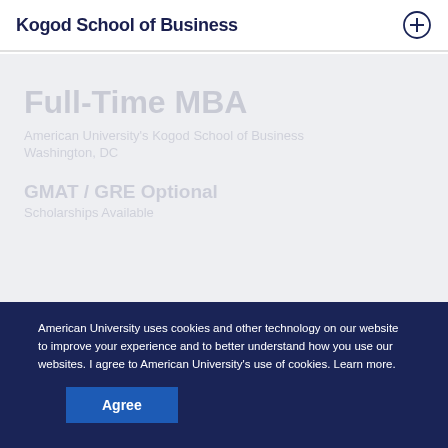Kogod School of Business
[Figure (screenshot): Light gray background content area with faded/blurred large heading and body text, representing obscured webpage content behind a cookie consent overlay.]
American University uses cookies and other technology on our website to improve your experience and to better understand how you use our websites. I agree to American University’s use of cookies. Learn more.
Agree